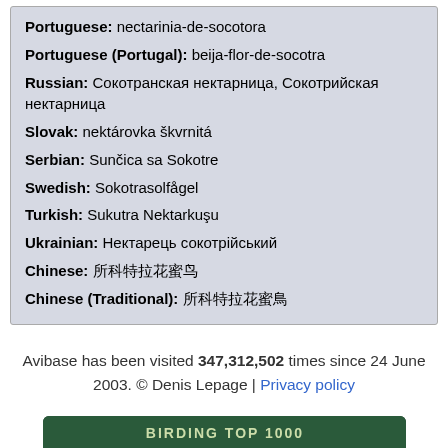Portuguese: nectarinia-de-socotora
Portuguese (Portugal): beija-flor-de-socotra
Russian: Сокотранская нектарница, Сокотрийская нектарница
Slovak: nektárovka škvrnitá
Serbian: Sunčica sa Sokotre
Swedish: Sokotrasolfågel
Turkish: Sukutra Nektarkuşu
Ukrainian: Нектарець сокотрійський
Chinese: 所科特拉花蜜鸟
Chinese (Traditional): 所科特拉花蜜鳥
Avibase has been visited 347,312,502 times since 24 June 2003. © Denis Lepage | Privacy policy
[Figure (logo): Birding Top 1000 badge showing rank 0004 with a bird logo]